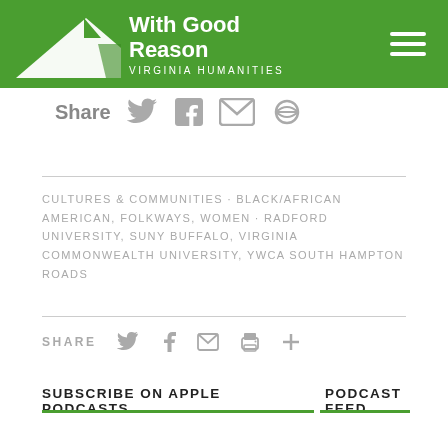With Good Reason VIRGINIA HUMANITIES
Share
CULTURES & COMMUNITIES · BLACK/AFRICAN AMERICAN, FOLKWAYS, WOMEN · RADFORD UNIVERSITY, SUNY BUFFALO, VIRGINIA COMMONWEALTH UNIVERSITY, YWCA SOUTH HAMPTON ROADS
SHARE
SUBSCRIBE ON APPLE PODCASTS  PODCAST FEED